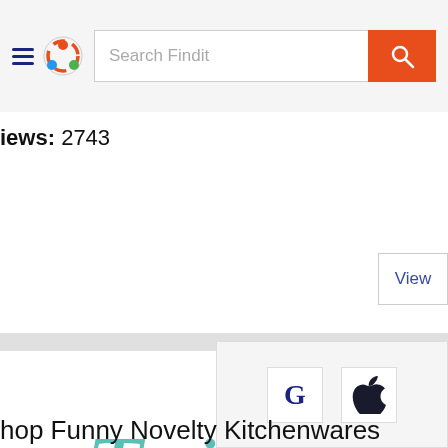[Figure (screenshot): Findit website header with hamburger menu, Findit logo (colorful circle icon), search bar with 'Search Findit' placeholder, and orange search button]
iews: 2743
View
[Figure (logo): Twisted Wares logo in teal/turquoise script font with 'WARES' in spaced capitals below]
hop Funny Novelty Kitchenwares